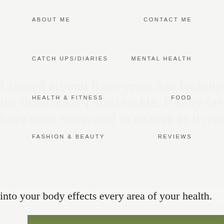ABOUT ME    CONTACT ME
CATCH UPS/DIARIES    MENTAL HEALTH
HEALTH & FITNESS    FOOD
FASHION & BEAUTY    REVIEWS
I started around three years ago looking to my b
the three areas I must tackle. It is by far the one I
have been motivated to change as it makes se
into your body effects every area of your health.
[Figure (photo): A formal garden with trimmed yellow-green boxwood hedges, lavender shrubs, and green lawn paths. A person in a blue denim jacket is visible in the lower right.]